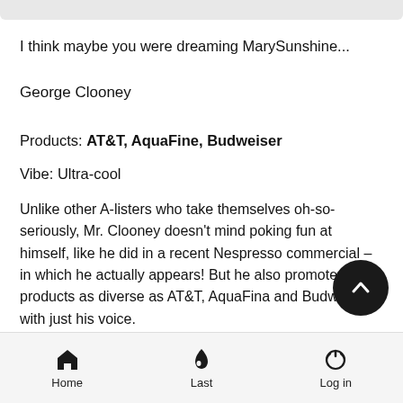I think maybe you were dreaming MarySunshine...
George Clooney
Products: AT&T, AquaFine, Budweiser
Vibe: Ultra-cool
Unlike other A-listers who take themselves oh-so-seriously, Mr. Clooney doesn't mind poking fun at himself, like he did in a recent Nespresso commercial – in which he actually appears! But he also promotes products as diverse as AT&T, AquaFina and Budweiser with just his voice.
Home | Last | Log in